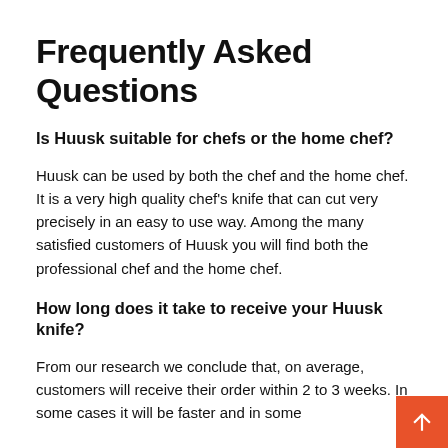Frequently Asked Questions
Is Huusk suitable for chefs or the home chef?
Huusk can be used by both the chef and the home chef. It is a very high quality chef's knife that can cut very precisely in an easy to use way. Among the many satisfied customers of Huusk you will find both the professional chef and the home chef.
How long does it take to receive your Huusk knife?
From our research we conclude that, on average, customers will receive their order within 2 to 3 weeks. In some cases it will be faster and in some cases it might take a little longer, yet the Huusk...